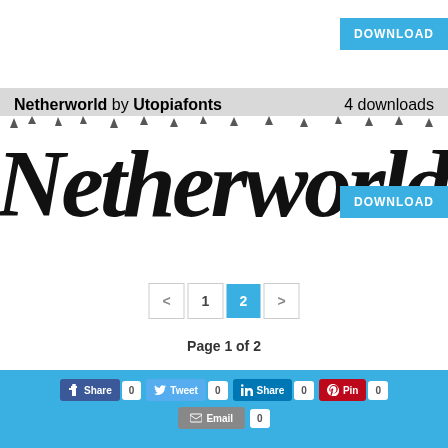[Figure (screenshot): Blue DOWNLOAD button top right]
Netherworld by Utopiafonts   4 downloads
[Figure (illustration): Large decorative font preview showing 'Netherworld' in a spiky dark fantasy typeface]
[Figure (screenshot): Blue DOWNLOAD button overlapping font preview]
[Figure (screenshot): Pagination controls: < 1 2 (active) >]
Page 1 of 2
[Figure (screenshot): Social share buttons: Facebook Share 0, Tweet 0, LinkedIn Share 0, Pin 0, Email 0 on blue background]
terms and conditions | contact us | Free Font Download | sitemap
^ top ^